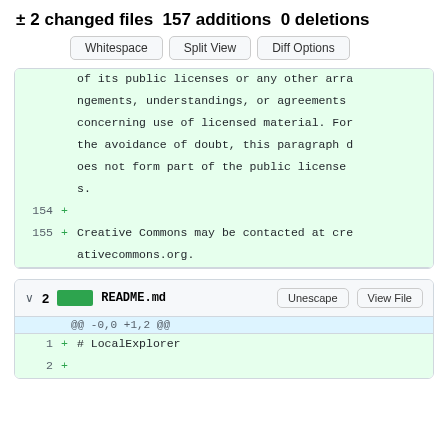± 2 changed files 157 additions 0 deletions
Whitespace | Split View | Diff Options
of its public licenses or any other arrangements, understandings, or agreements concerning use of licensed material. For the avoidance of doubt, this paragraph does not form part of the public licenses.
154 +
155 + Creative Commons may be contacted at creativecommons.org.
v 2 README.md  Unescape  View File
@@ -0,0 +1,2 @@
1 + # LocalExplorer
2 +